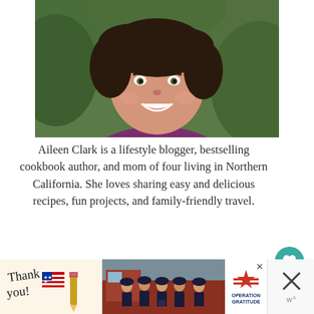[Figure (photo): Portrait photo of Aileen Clark, a smiling woman with dark curly hair, wearing a purple top, with green foliage in the background.]
Aileen Clark is a lifestyle blogger, bestselling cookbook author, and mom of four living in Northern California. She loves sharing easy and delicious recipes, fun projects, and family-friendly travel.
[Figure (screenshot): Advertisement banner: Thank you note with pencil graphic on left, group photo of firefighters in middle, Operation Gratitude logo on right.]